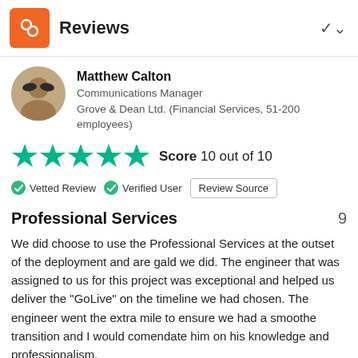Reviews
Matthew Calton
Communications Manager
Grove & Dean Ltd. (Financial Services, 51-200 employees)
[Figure (other): Five teal stars rating icon — Score 10 out of 10]
✔ Vetted Review   ✔ Verified User   Review Source
Professional Services
We did choose to use the Professional Services at the outset of the deployment and are gald we did. The engineer that was assigned to us for this project was exceptional and helped us deliver the "GoLive" on the timeline we had chosen. The engineer went the extra mile to ensure we had a smoothe transition and I would comendate him on his knowledge and professionalism.